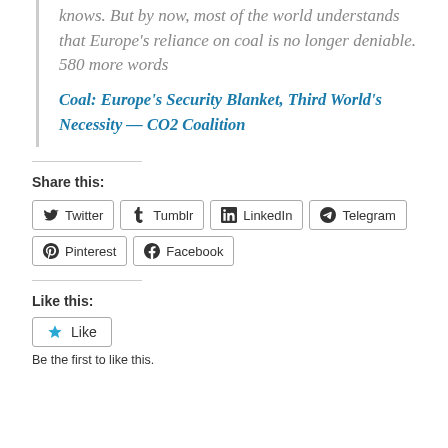knows. But by now, most of the world understands that Europe's reliance on coal is no longer deniable. 580 more words
Coal: Europe's Security Blanket, Third World's Necessity — CO2 Coalition
Share this:
Twitter
Tumblr
LinkedIn
Telegram
Pinterest
Facebook
Like this:
Like
Be the first to like this.